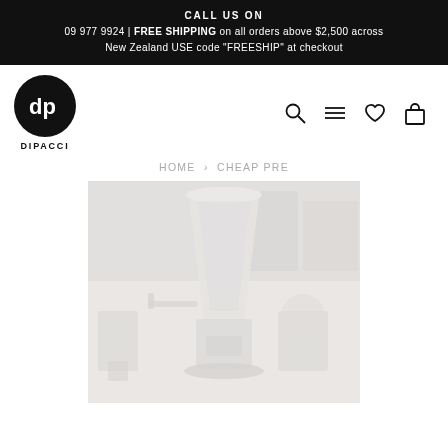CALL US ON
09 977 9924 | FREE SHIPPING on all orders above $2,500 across New Zealand USE code "FREESHIP" at checkout
[Figure (logo): Dipacci logo: black circle with 'dp' text inside, DIPACCI text below]
[Figure (infographic): Navigation icons: search magnifier, hamburger menu, heart/wishlist, shopping bag]
HOME > CHEAP PRE
[Figure (photo): Faded/washed-out photograph of coffee grinder equipment in a shop setting]